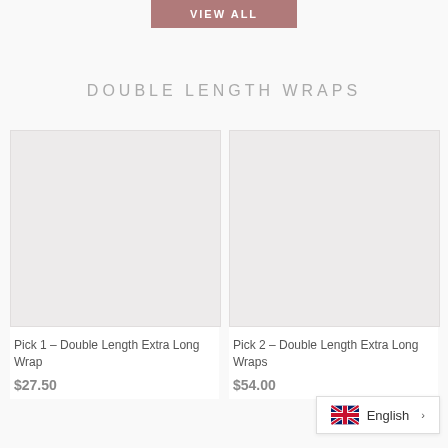VIEW ALL
DOUBLE LENGTH WRAPS
[Figure (photo): Empty product image placeholder for Pick 1 - Double Length Extra Long Wrap]
Pick 1 – Double Length Extra Long Wrap
$27.50
[Figure (photo): Empty product image placeholder for Pick 2 - Double Length Extra Long Wraps]
Pick 2 – Double Length Extra Long Wraps
$54.00
English